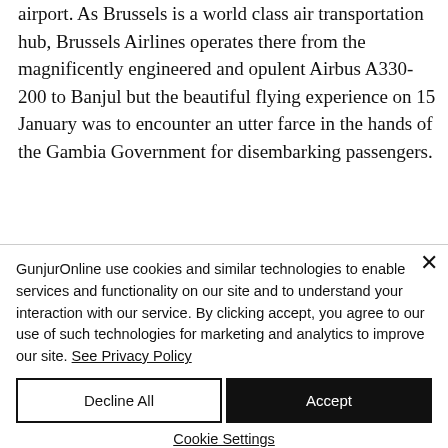airport. As Brussels is a world class air transportation hub, Brussels Airlines operates there from the magnificently engineered and opulent Airbus A330-200 to Banjul but the beautiful flying experience on 15 January was to encounter an utter farce in the hands of the Gambia Government for disembarking passengers.
GunjurOnline use cookies and similar technologies to enable services and functionality on our site and to understand your interaction with our service. By clicking accept, you agree to our use of such technologies for marketing and analytics to improve our site. See Privacy Policy
Decline All
Accept
Cookie Settings